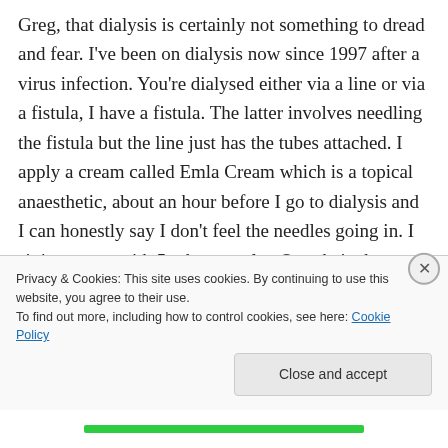Greg, that dialysis is certainly not something to dread and fear. I've been on dialysis now since 1997 after a virus infection. You're dialysed either via a line or via a fistula, I have a fistula. The latter involves needling the fistula but the line just has the tubes attached. I apply a cream called Emla Cream which is a topical anaesthetic, about an hour before I go to dialysis and I can honestly say I don't feel the needles going in. I sit in a room with 5 other people . Our chairs have TVs attached and the nurses bring
Privacy & Cookies: This site uses cookies. By continuing to use this website, you agree to their use.
To find out more, including how to control cookies, see here: Cookie Policy